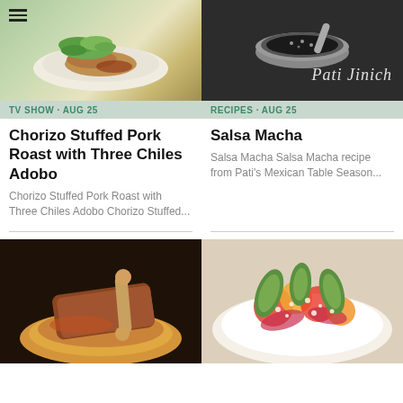[Figure (photo): Photo of a plate with green leafy garnish, meat dish, white plate background]
[Figure (photo): Dark background with mortar/bowl, Pati Jinich cursive signature overlay]
TV SHOW · AUG 25
RECIPES · AUG 25
Chorizo Stuffed Pork Roast with Three Chiles Adobo
Salsa Macha
Chorizo Stuffed Pork Roast with Three Chiles Adobo Chorizo Stuffed...
Salsa Macha Salsa Macha recipe from Pati's Mexican Table Season...
[Figure (photo): Braised meat dish in yellow/orange sauce on a plate]
[Figure (photo): Colorful salad with avocado slices, tomatoes, onions, crumbled cheese on a plate]